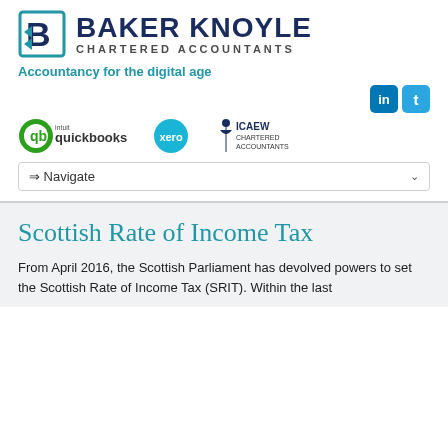[Figure (logo): Baker Knoyle Chartered Accountants logo with blue B icon and dark navy text]
Accountancy for the digital age
[Figure (logo): Social media icons: LinkedIn (in) and Twitter (t) buttons in blue]
[Figure (logo): Partner logos: intuit quickbooks (green), xero (cyan), ICAEW Chartered Accountants]
⇒ Navigate
Scottish Rate of Income Tax
From April 2016, the Scottish Parliament has devolved powers to set the Scottish Rate of Income Tax (SRIT). Within the last